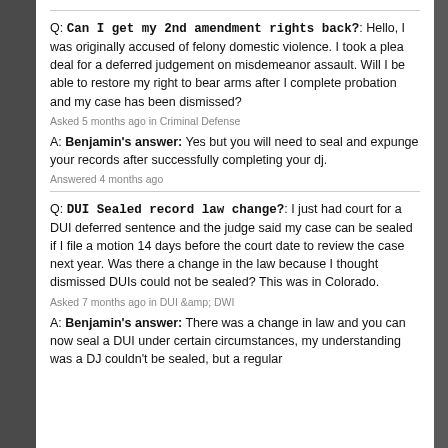Q: Can I get my 2nd amendment rights back?: Hello, I was originally accused of felony domestic violence. I took a plea deal for a deferred judgement on misdemeanor assault. Will I be able to restore my right to bear arms after I complete probation and my case has been dismissed?
Asked 5 months ago in Criminal Defense
A: Benjamin's answer: Yes but you will need to seal and expunge your records after successfully completing your dj.
Answered 4 months ago
Q: DUI Sealed record law change?: I just had court for a DUI deferred sentence and the judge said my case can be sealed if I file a motion 14 days before the court date to review the case next year. Was there a change in the law because I thought dismissed DUIs could not be sealed? This was in Colorado.
Asked 7 months ago in DUI &amp; DWI
A: Benjamin's answer: There was a change in law and you can now seal a DUI under certain circumstances, my understanding was a DJ couldn't be sealed, but a regular